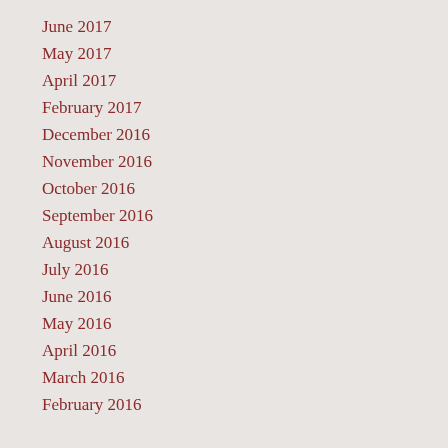June 2017
May 2017
April 2017
February 2017
December 2016
November 2016
October 2016
September 2016
August 2016
July 2016
June 2016
May 2016
April 2016
March 2016
February 2016